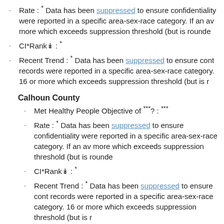Rate : * Data has been suppressed to ensure confidentiality were reported in a specific area-sex-race category. If an av more which exceeds suppression threshold (but is rounde
CI*Rank⋕ : *
Recent Trend : * Data has been suppressed to ensure cont records were reported in a specific area-sex-race category. 16 or more which exceeds suppression threshold (but is r
Calhoun County
Met Healthy People Objective of ***? : ***
Rate : * Data has been suppressed to ensure confidentiality were reported in a specific area-sex-race category. If an av more which exceeds suppression threshold (but is rounde
CI*Rank⋕ : *
Recent Trend : * Data has been suppressed to ensure cont records were reported in a specific area-sex-race category. 16 or more which exceeds suppression threshold (but is r
Chicot County
Met Healthy People Objective of ***? : ***
Rate : * Data has been suppressed to ensure confidentiality were reported in a specific area-sex-race category. If an av